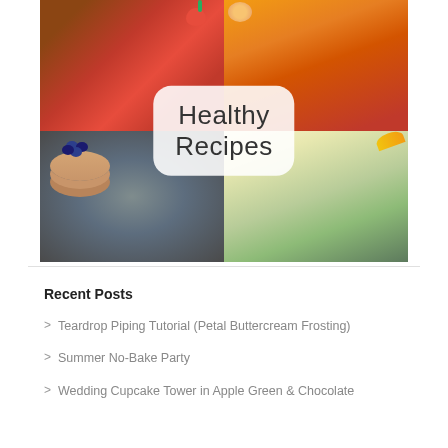[Figure (photo): Food collage with four quadrant photos: top-left strawberry smoothie in a bowl, top-right peach crumble on an orange plate, bottom-left pancakes with blueberries, bottom-right green banana smoothie. Center overlay reads 'Healthy Recipes' in light font on white rounded rectangle.]
Recent Posts
Teardrop Piping Tutorial (Petal Buttercream Frosting)
Summer No-Bake Party
Wedding Cupcake Tower in Apple Green & Chocolate